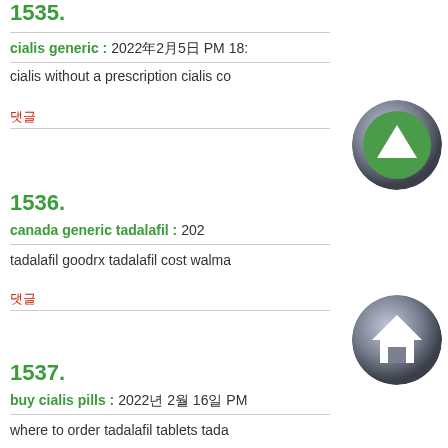1535.
cialis generic : 2022年2月5日 PM 18:
cialis without a prescription cialis co
댓글
1536.
canada generic tadalafil : 202
tadalafil goodrx tadalafil cost walma
댓글
1537.
buy cialis pills : 2022년 2월 16일 PM
where to order tadalafil tablets tada